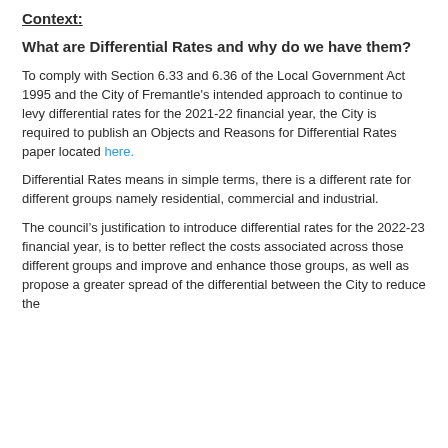Context:
What are Differential Rates and why do we have them?
To comply with Section 6.33 and 6.36 of the Local Government Act 1995 and the City of Fremantle's intended approach to continue to levy differential rates for the 2021-22 financial year, the City is required to publish an Objects and Reasons for Differential Rates paper located here.
Differential Rates means in simple terms, there is a different rate for different groups namely residential, commercial and industrial.
The council's justification to introduce differential rates for the 2022-23 financial year, is to better reflect the costs associated across those different groups and improve and enhance those groups, as well as propose a greater spread of the differential between the City to reduce the...